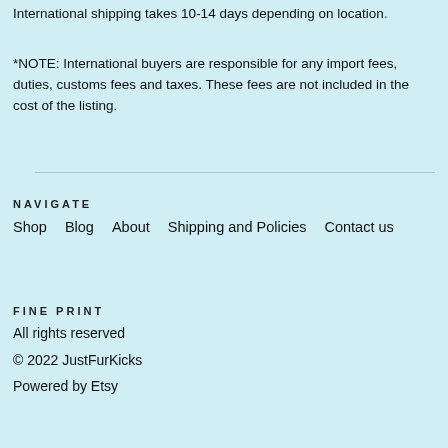International shipping takes 10-14 days depending on location.
*NOTE: International buyers are responsible for any import fees, duties, customs fees and taxes. These fees are not included in the cost of the listing.
NAVIGATE
Shop
Blog
About
Shipping and Policies
Contact us
FINE PRINT
All rights reserved
© 2022 JustFurKicks
Powered by Etsy